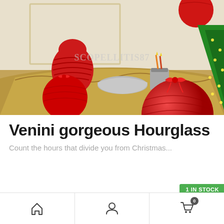[Figure (photo): Product photo of Venini glass decorative items including red ornament balls, a red ribbed vase, a silver bowl and cup, displayed on a gold table beside a Christmas tree with lights. Watermark reads SCOPELLITIS87.]
Venini gorgeous Hourglass
Count the hours that divide you from Christmas...
1 IN STOCK
[Figure (other): Bottom navigation bar with home icon, user/profile icon, and shopping cart icon with badge showing 0]